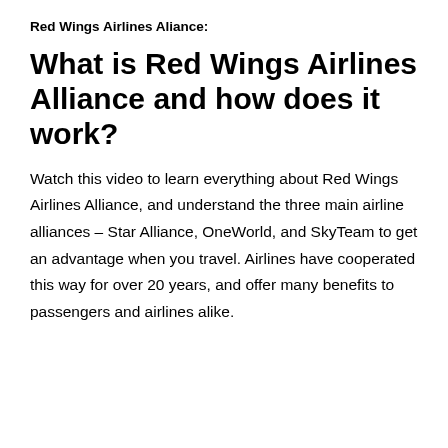Red Wings Airlines Aliance:
What is Red Wings Airlines Alliance and how does it work?
Watch this video to learn everything about Red Wings Airlines Alliance, and understand the three main airline alliances – Star Alliance, OneWorld, and SkyTeam to get an advantage when you travel. Airlines have cooperated this way for over 20 years, and offer many benefits to passengers and airlines alike.